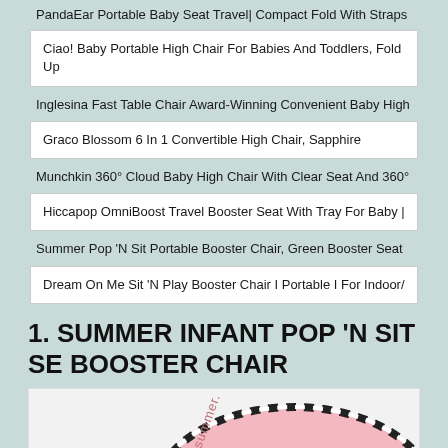PandaEar Portable Baby Seat Travel| Compact Fold With Straps
Ciao! Baby Portable High Chair For Babies And Toddlers, Fold Up
Inglesina Fast Table Chair Award-Winning Convenient Baby High
Graco Blossom 6 In 1 Convertible High Chair, Sapphire
Munchkin 360° Cloud Baby High Chair With Clear Seat And 360°
Hiccapop OmniBoost Travel Booster Seat With Tray For Baby |
Summer Pop 'N Sit Portable Booster Chair, Green Booster Seat
Dream On Me Sit 'N Play Booster Chair I Portable I For Indoor/
1. SUMMER INFANT POP 'N SIT SE BOOSTER CHAIR
[Figure (photo): Pink Summer Infant Pop 'N Sit SE Booster Chair product photo, showing the top of a pink padded seat with black and white dotted border trim and 'summer.' branding text.]